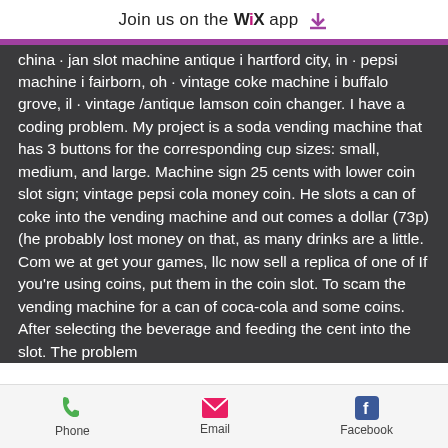Join us on the WiX app ⬇
china · jan slot machine antique i hartford city, in · pepsi machine i fairborn, oh · vintage coke machine i buffalo grove, il · vintage /antique lamson coin changer. I have a coding problem. My project is a soda vending machine that has 3 buttons for the corresponding cup sizes: small, medium, and large. Machine sign 25 cents with lower coin slot sign; vintage pepsi cola money coin. He slots a can of coke into the vending machine and out comes a dollar (73p) (he probably lost money on that, as many drinks are a little. Com we at get your games, llc now sell a replica of one of If you're using coins, put them in the coin slot. To scam the vending machine for a can of coca-cola and some coins. After selecting the beverage and feeding the cent into the slot. The problem
Phone  Email  Facebook